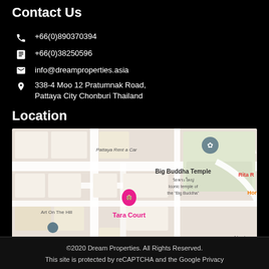Contact Us
+66(0)890370394
+66(0)38250596
info@dreamproperties.asia
338-4 Moo 12 Pratumnak Road, Pattaya City Chonburi Thailand
Location
[Figure (map): Google Map showing Tara Court location near Big Buddha Temple in Pattaya, Thailand. Pink pin labeled Tara Court, gray pin for Big Buddha Temple. Nearby labels: Art On The Hill, Chicken, Rita R, Horse, Neot Est.]
©2020 Dream Properties. All Rights Reserved. This site is protected by reCAPTCHA and the Google Privacy